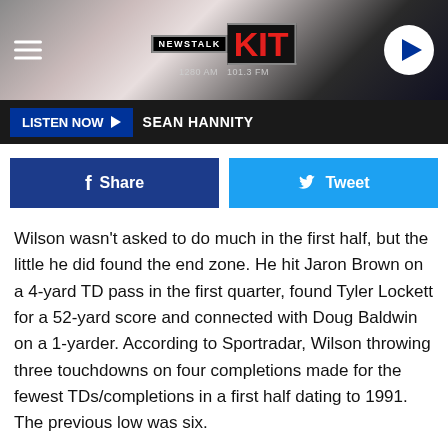[Figure (screenshot): Newstalk KIT 1280 AM 101.3 FM radio station website header with logo, hamburger menu, and play button]
LISTEN NOW ▶  SEAN HANNITY
Share   Tweet
Wilson wasn't asked to do much in the first half, but the little he did found the end zone. He hit Jaron Brown on a 4-yard TD pass in the first quarter, found Tyler Lockett for a 52-yard score and connected with Doug Baldwin on a 1-yarder. According to Sportradar, Wilson throwing three touchdowns on four completions made for the fewest TDs/completions in a first half dating to 1991. The previous low was six.
Wilson finished 11 of 17 for 185 yards and has thrown at least two touchdowns in eight straight games. It was the